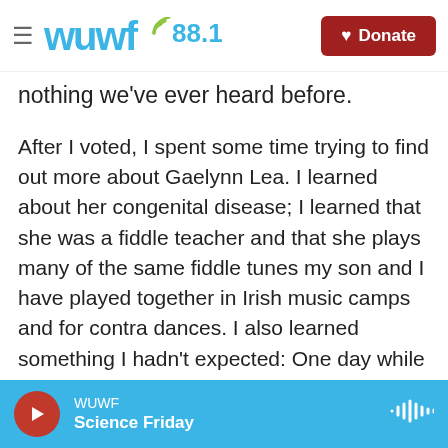WUWF 88.1 | Donate
nothing we've ever heard before.
After I voted, I spent some time trying to find out more about Gaelynn Lea. I learned about her congenital disease; I learned that she was a fiddle teacher and that she plays many of the same fiddle tunes my son and I have played together in Irish music camps and for contra dances. I also learned something I hadn't expected: One day while playing at a farmers market in Duluth, Alan Sparhawk, the guitarist and singer of the band Low (also from Duluth) heard Gaelynn Lea playing. Shortly after he texted her, asking if she'd like to play together. It
WUWF Science Friday